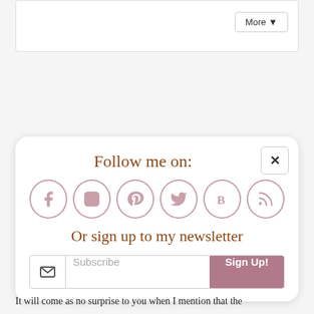[Figure (screenshot): Top bar with More dropdown button]
[Figure (infographic): Follow me on social media popup card with Facebook, Instagram, Pinterest, Twitter, Bloglovin, RSS icons, newsletter signup with Subscribe input and Sign Up button, and close X button]
It will come as no surprise to you when I mention that the